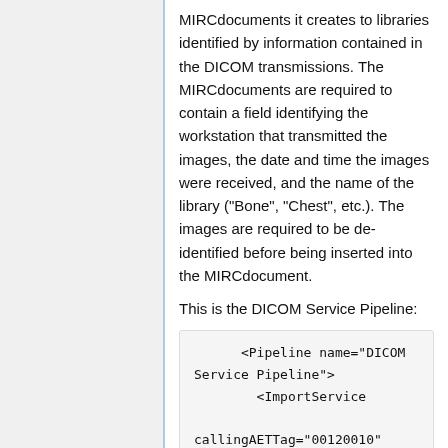MIRCdocuments it creates to libraries identified by information contained in the DICOM transmissions. The MIRCdocuments are required to contain a field identifying the workstation that transmitted the images, the date and time the images were received, and the name of the library ("Bone", "Chest", etc.). The images are required to be de-identified before being inserted into the MIRCdocument.
This is the DICOM Service Pipeline:
<Pipeline name="DICOM Service Pipeline">
        <ImportService

callingAETTag="00120010"

calledAETTag="00120020"